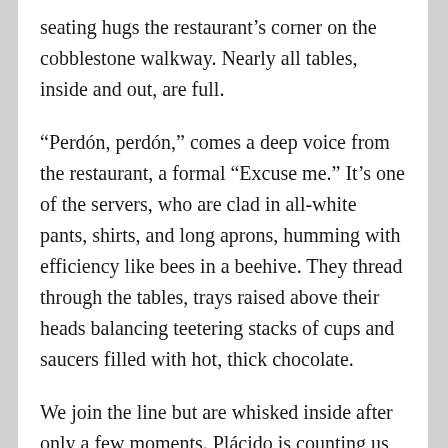seating hugs the restaurant's corner on the cobblestone walkway. Nearly all tables, inside and out, are full.
“Perdón, perdón,” comes a deep voice from the restaurant, a formal “Excuse me.” It’s one of the servers, who are clad in all-white pants, shirts, and long aprons, humming with efficiency like bees in a beehive. They thread through the tables, trays raised above their heads balancing teetering stacks of cups and saucers filled with hot, thick chocolate.
We join the line but are whisked inside after only a few moments. Plácido is counting us and talking to a server. Before I realize what’s happening, our order is placed and the white flash of the server’s apron disappears around the corner.
Churros big and small overflow on plates plunked